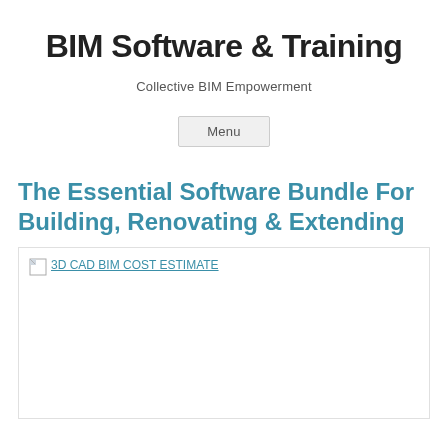BIM Software & Training
Collective BIM Empowerment
Menu
The Essential Software Bundle For Building, Renovating & Extending
[Figure (photo): Broken image placeholder showing '3D CAD BIM COST ESTIMATE' as alt text link]